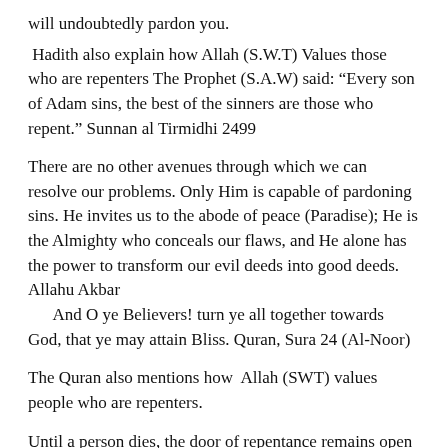will undoubtedly pardon you.
Hadith also explain how Allah (S.W.T) Values those who are repenters The Prophet (S.A.W) said: “Every son of Adam sins, the best of the sinners are those who repent.” Sunnan al Tirmidhi 2499
There are no other avenues through which we can resolve our problems. Only Him is capable of pardoning sins. He invites us to the abode of peace (Paradise); He is the Almighty who conceals our flaws, and He alone has the power to transform our evil deeds into good deeds. Allahu Akbar
      And O ye Believers! turn ye all together towards God, that ye may attain Bliss. Quran, Sura 24 (Al-Noor)
The Quran also mentions how Allah (SWT) values people who are repenters.
Until a person dies, the door of repentance remains open to him. Allah supplies abundantly when anything is a necessity, such as